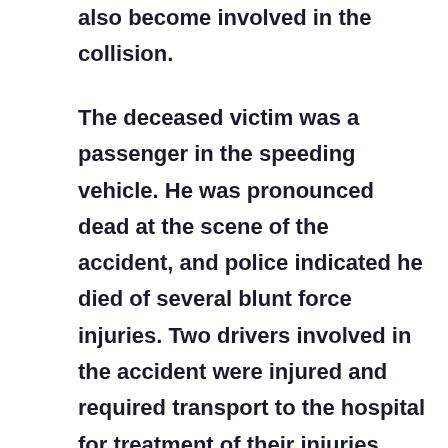also become involved in the collision.
The deceased victim was a passenger in the speeding vehicle. He was pronounced dead at the scene of the accident, and police indicated he died of several blunt force injuries. Two drivers involved in the accident were injured and required transport to the hospital for treatment of their injuries. Police did not indicate whether one of the injured drivers was the driver of the speeding vehicle. They also did not indicate whether any criminal charges were pending. The accident resulted in the closure of the inbound